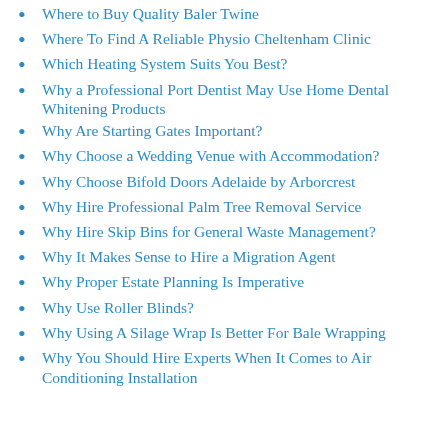Where to Buy Quality Baler Twine
Where To Find A Reliable Physio Cheltenham Clinic
Which Heating System Suits You Best?
Why a Professional Port Dentist May Use Home Dental Whitening Products
Why Are Starting Gates Important?
Why Choose a Wedding Venue with Accommodation?
Why Choose Bifold Doors Adelaide by Arborcrest
Why Hire Professional Palm Tree Removal Service
Why Hire Skip Bins for General Waste Management?
Why It Makes Sense to Hire a Migration Agent
Why Proper Estate Planning Is Imperative
Why Use Roller Blinds?
Why Using A Silage Wrap Is Better For Bale Wrapping
Why You Should Hire Experts When It Comes to Air Conditioning Installation